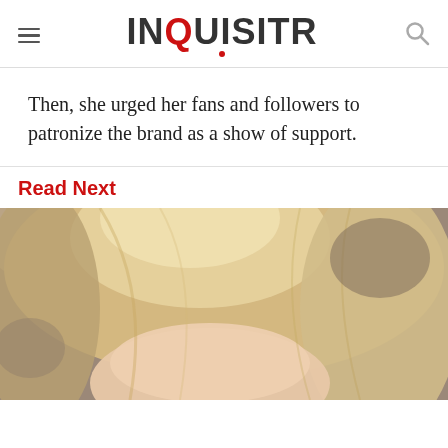INQUISITR
Then, she urged her fans and followers to patronize the brand as a show of support.
Read Next
[Figure (photo): Close-up photo of a blonde woman, cropped showing the top portion of her face and hair against a blurred background.]